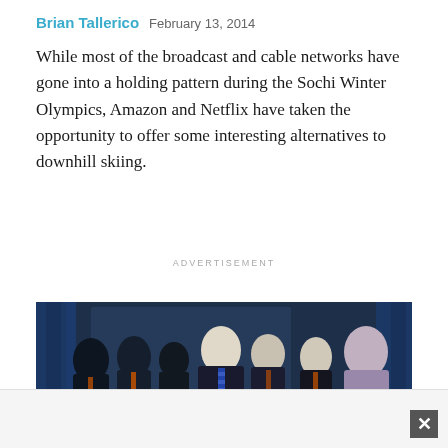Brian Tallerico   February 13, 2014
While most of the broadcast and cable networks have gone into a holding pattern during the Sochi Winter Olympics, Amazon and Netflix have taken the opportunity to offer some interesting alternatives to downhill skiing.
ADVERTISEMENT
[Figure (photo): Group of men in suits standing together in what appears to be a backstage or event space with blue curtains. A central figure in a dark suit and striped tie stands prominently, surrounded by other men in business attire, several wearing orange ties.]
[Figure (other): Advertisement bar at bottom with close/X button in bottom right corner]